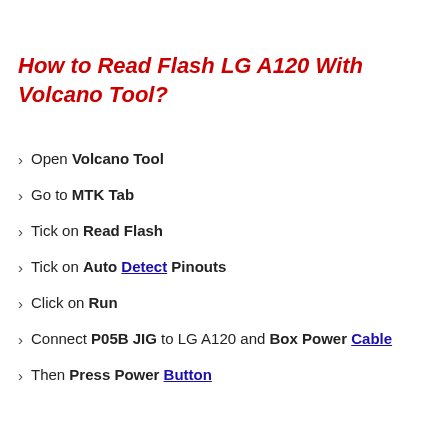How to Read Flash LG A120 With Volcano Tool?
Open Volcano Tool
Go to MTK Tab
Tick on Read Flash
Tick on Auto Detect Pinouts
Click on Run
Connect P05B JIG to LG A120 and Box Power Cable
Then Press Power Button